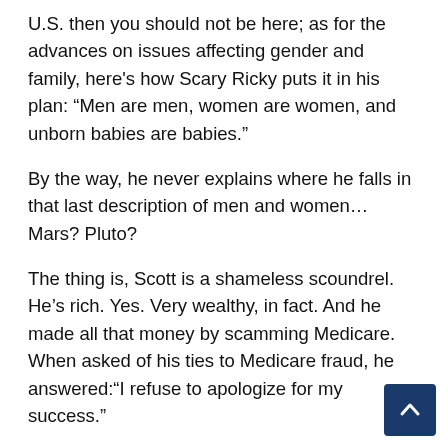U.S. then you should not be here; as for the advances on issues affecting gender and family, here's how Scary Ricky puts it in his plan: “Men are men, women are women, and unborn babies are babies.”
By the way, he never explains where he falls in that last description of men and women… Mars? Pluto?
The thing is, Scott is a shameless scoundrel. He’s rich. Yes. Very wealthy, in fact. And he made all that money by scamming Medicare. When asked of his ties to Medicare fraud, he answered:“I refuse to apologize for my success.”
I will quote Politico, considered a right of center publication, who explains Scott’s wealth in this way: “The legacy of Scott’s leadership of Columbia/HCA once the nation’s largest for-profit hospital chain